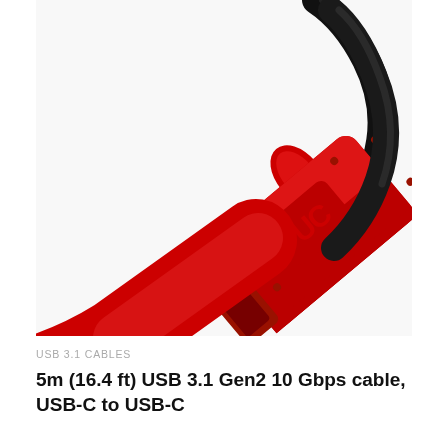[Figure (photo): Close-up photo of a red USB-C cable connector with a black cable. The red connector has a raised embossed 'UC' logo/symbol on it and small dot ventilation holes. A red arrow/chevron shape is visible in the top right corner.]
USB 3.1 CABLES
5m (16.4 ft) USB 3.1 Gen2 10 Gbps cable, USB-C to USB-C